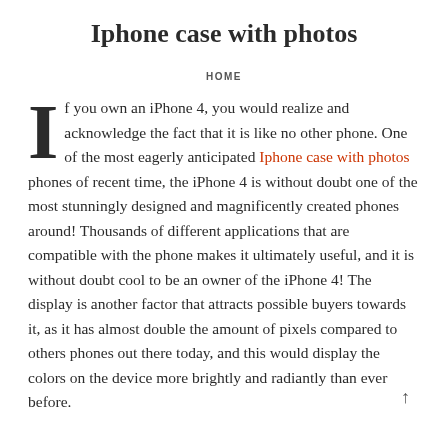Iphone case with photos
HOME
If you own an iPhone 4, you would realize and acknowledge the fact that it is like no other phone. One of the most eagerly anticipated Iphone case with photos phones of recent time, the iPhone 4 is without doubt one of the most stunningly designed and magnificently created phones around! Thousands of different applications that are compatible with the phone makes it ultimately useful, and it is without doubt cool to be an owner of the iPhone 4! The display is another factor that attracts possible buyers towards it, as it has almost double the amount of pixels compared to others phones out there today, and this would display the colors on the device more brightly and radiantly than ever before.